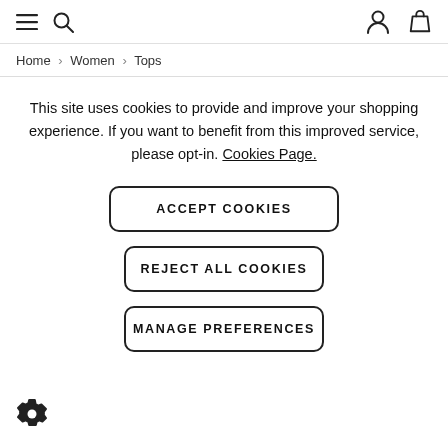[Figure (screenshot): Navigation bar with hamburger menu icon, search icon, user account icon, and shopping bag icon]
Home › Women › Tops
This site uses cookies to provide and improve your shopping experience. If you want to benefit from this improved service, please opt-in. Cookies Page.
ACCEPT COOKIES
REJECT ALL COOKIES
MANAGE PREFERENCES